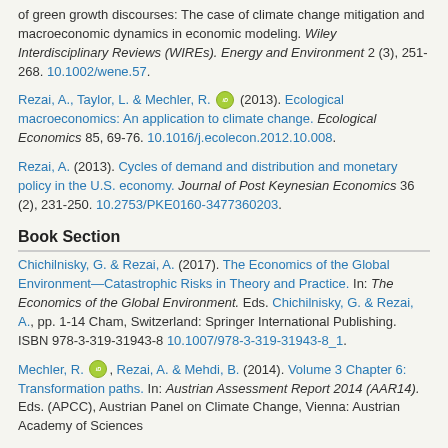of green growth discourses: The case of climate change mitigation and macroeconomic dynamics in economic modeling. Wiley Interdisciplinary Reviews (WIREs). Energy and Environment 2 (3), 251-268. 10.1002/wene.57.
Rezai, A., Taylor, L. & Mechler, R. [orcid] (2013). Ecological macroeconomics: An application to climate change. Ecological Economics 85, 69-76. 10.1016/j.ecolecon.2012.10.008.
Rezai, A. (2013). Cycles of demand and distribution and monetary policy in the U.S. economy. Journal of Post Keynesian Economics 36 (2), 231-250. 10.2753/PKE0160-3477360203.
Book Section
Chichilnisky, G. & Rezai, A. (2017). The Economics of the Global Environment—Catastrophic Risks in Theory and Practice. In: The Economics of the Global Environment. Eds. Chichilnisky, G. & Rezai, A., pp. 1-14 Cham, Switzerland: Springer International Publishing. ISBN 978-3-319-31943-8 10.1007/978-3-319-31943-8_1.
Mechler, R. [orcid], Rezai, A. & Mehdi, B. (2014). Volume 3 Chapter 6: Transformation paths. In: Austrian Assessment Report 2014 (AAR14). Eds. (APCC), Austrian Panel on Climate Change. Vienna: Austrian Academy of Sciences Press.